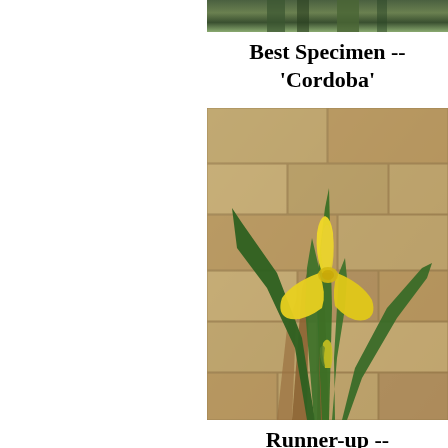[Figure (photo): Top portion of a plant photo, cropped at the top edge of the page, showing green iris leaves against a stone background.]
Best Specimen -- 'Cordoba'
[Figure (photo): A yellow iris flower (cultivar 'Cordoba') with green leaves against a stone wall background. The bloom is bright yellow with open falls and standards, showing a typical iris form.]
Runner-up --